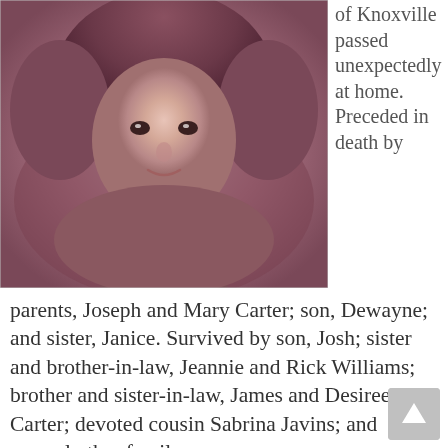[Figure (photo): Vintage sepia/pink-tinted portrait photograph of a young man with curly hair and a plaid shirt, smiling]
of Knoxville passed unexpectedly at home. Preceded in death by parents, Joseph and Mary Carter; son, Dewayne; and sister, Janice. Survived by son, Josh; sister and brother-in-law, Jeannie and Rick Williams; brother and sister-in-law, James and Desiree Carter; devoted cousin Sabrina Javins; and several other family